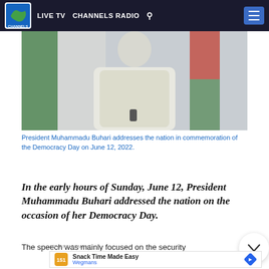LIVE TV  CHANNELS RADIO
[Figure (photo): President Muhammadu Buhari in white attire seated in front of Nigerian flag, addressing the nation on Democracy Day, June 12, 2022.]
President Muhammadu Buhari addresses the nation in commemoration of the Democracy Day on June 12, 2022.
In the early hours of Sunday, June 12, President Muhammadu Buhari addressed the nation on the occasion of her Democracy Day.
The speech was mainly focused on the security
ADVERTISEMENT
[Figure (infographic): Advertisement banner: Snack Time Made Easy - Wegmans logo with orange icon and blue directional arrow.]